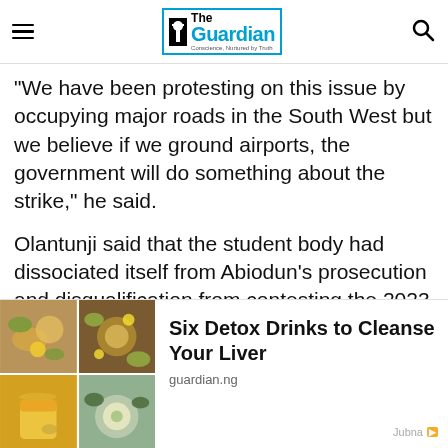The Guardian — Conscience, Nurtured by Truth
“We have been protesting on this issue by occupying major roads in the South West but we believe if we ground airports, the government will do something about the strike,” he said.
Olantunji said that the student body had dissociated itself from Abiodun’s prosecution and disqualification from contesting the 2023 elections.
He said Abiodun’s education policy remained able in the South West region because he’s
[Figure (photo): Grid of four food/drink photos showing detox drinks with herbs, lemon slices, and herbal teas]
Six Detox Drinks to Cleanse Your Liver
guardian.ng